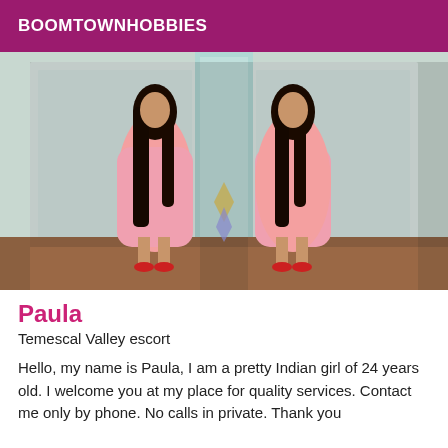BOOMTOWNHOBBIES
[Figure (photo): A woman in a pink dress with long black hair standing in an interior space with mirrors creating a reflection effect. She is wearing red heels.]
Paula
Temescal Valley escort
Hello, my name is Paula, I am a pretty Indian girl of 24 years old. I welcome you at my place for quality services. Contact me only by phone. No calls in private. Thank you